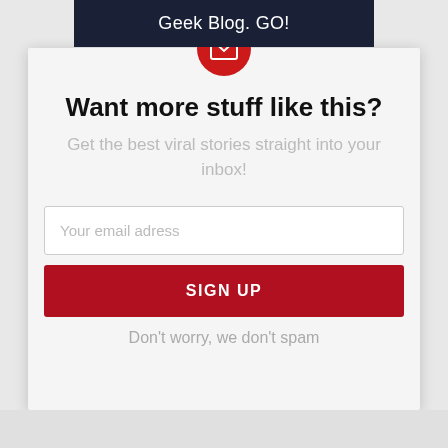Geek Blog. GO!
[Figure (illustration): Red circular icon with white envelope/mail symbol]
Want more stuff like this?
Get the best viral stories straight into your inbox!
Your email adress
SIGN UP
Don't worry, we don't spam